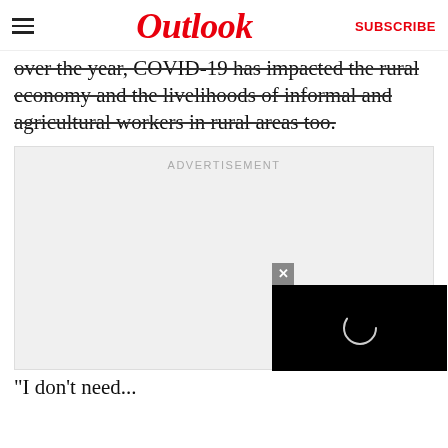Outlook | SUBSCRIBE
over the year, COVID-19 has impacted the rural economy and the livelihoods of informal and agricultural workers in rural areas too.
[Figure (other): Advertisement placeholder box (gray background) with ADVERTISEMENT label, and a partially visible video player overlay in the bottom-right corner with a close (×) button and a black video area showing a loading spinner circle.]
"I don't need...